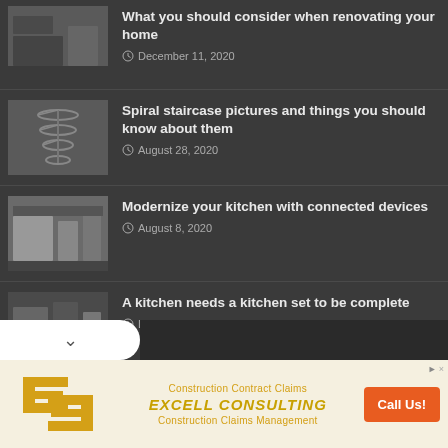[Figure (screenshot): Thumbnail image of a kitchen renovation]
What you should consider when renovating your home
December 11, 2020
[Figure (screenshot): Thumbnail image of a spiral staircase]
Spiral staircase pictures and things you should know about them
August 28, 2020
[Figure (screenshot): Thumbnail image of a modern kitchen with connected devices]
Modernize your kitchen with connected devices
August 8, 2020
[Figure (screenshot): Thumbnail image of a kitchen set]
A kitchen needs a kitchen set to be complete
December 14, 2018
[Figure (illustration): Excell Consulting advertisement banner with logo and Call Us button]